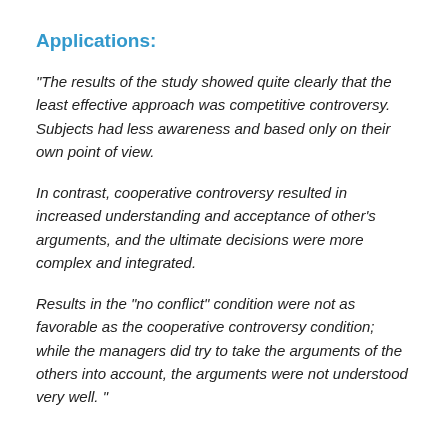Applications:
“The results of the study showed quite clearly that the least effective approach was competitive controversy. Subjects had less awareness and based only on their own point of view.
In contrast, cooperative controversy resulted in increased understanding and acceptance of other’s arguments, and the ultimate decisions were more complex and integrated.
Results in the “no conflict” condition were not as favorable as the cooperative controversy condition; while the managers did try to take the arguments of the others into account, the arguments were not understood very well. ”